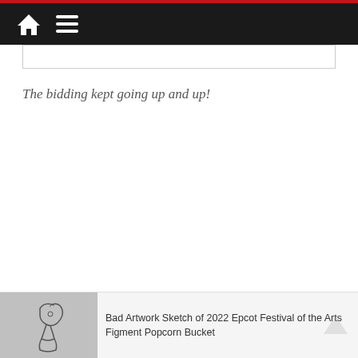Navigation bar with home icon and menu icon
The bidding kept going up and up!
[Figure (illustration): Sketch thumbnail of Bad Artwork Sketch of 2022 Epcot Festival of the Arts Figment Popcorn Bucket]
Bad Artwork Sketch of 2022 Epcot Festival of the Arts Figment Popcorn Bucket